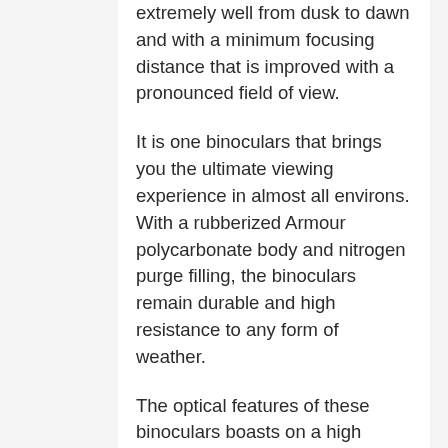extremely well from dusk to dawn and with a minimum focusing distance that is improved with a pronounced field of view.
It is one binoculars that brings you the ultimate viewing experience in almost all environs. With a rubberized Armour polycarbonate body and nitrogen purge filling, the binoculars remain durable and high resistance to any form of weather.
The optical features of these binoculars boasts on a high magnification, fully multi coated lens optics with Bak-4 prism glass for enhancing bright images with sharp contrast and a high degree of fine details with improved